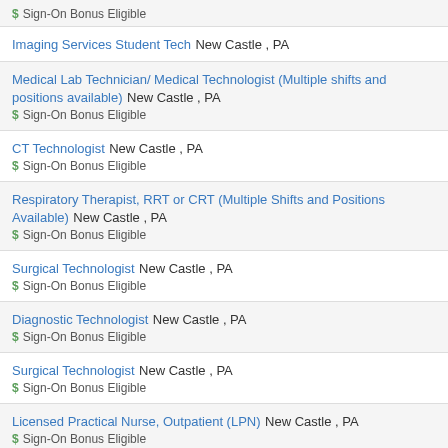$ Sign-On Bonus Eligible
Imaging Services Student Tech New Castle , PA
Medical Lab Technician/ Medical Technologist (Multiple shifts and positions available) New Castle , PA $ Sign-On Bonus Eligible
CT Technologist New Castle , PA $ Sign-On Bonus Eligible
Respiratory Therapist, RRT or CRT (Multiple Shifts and Positions Available) New Castle , PA $ Sign-On Bonus Eligible
Surgical Technologist New Castle , PA $ Sign-On Bonus Eligible
Diagnostic Technologist New Castle , PA $ Sign-On Bonus Eligible
Surgical Technologist New Castle , PA $ Sign-On Bonus Eligible
Licensed Practical Nurse, Outpatient (LPN) New Castle , PA $ Sign-On Bonus Eligible
Graduate Nurse: UPMC Western Maryland Cumberland ,